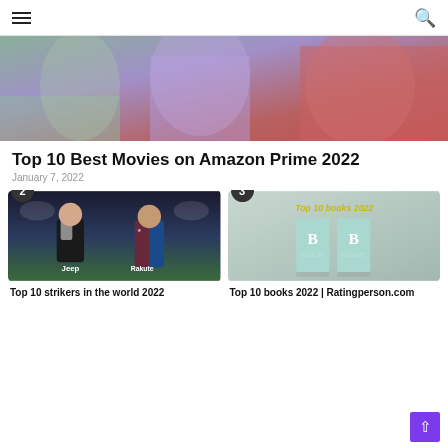Navigation header with hamburger menu and search icon
[Figure (photo): Cropped image of people in colorful clothing (green, purple, red) from behind — hero image for article]
Top 10 Best Movies on Amazon Prime 2022
January 7, 2022
[Figure (photo): Card 2: Two soccer/football players (one in Juventus black/white kit, one in Barcelona blue/red Rakuten kit) on stadium background. Number badge '2' in top-left.]
Top 10 strikers in the world 2022
[Figure (photo): Card 3: Two light-blue books with 'B' on cover against gray background, with text 'Top 10 books 2022' in yellow. Number badge '3' in top-left.]
Top 10 books 2022 | Ratingperson.com